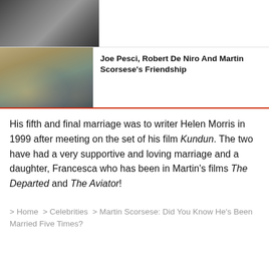[Figure (photo): Black and white partial photo strip at top of page]
[Figure (photo): Color photo of three men walking outdoors in a desert/arid landscape setting, appearing to be Joe Pesci, Robert De Niro and Martin Scorsese]
Joe Pesci, Robert De Niro And Martin Scorsese's Friendship
His fifth and final marriage was to writer Helen Morris in 1999 after meeting on the set of his film Kundun. The two have had a very supportive and loving marriage and a daughter, Francesca who has been in Martin's films The Departed and The Aviator!
> Home  > Celebrities  > Martin Scorsese: Did You Know He's Been Married Five Times?